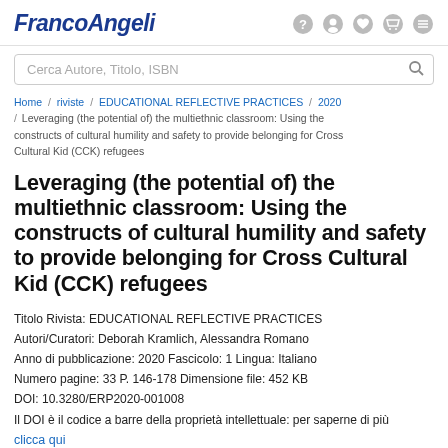FrancoAngeli
Cerca Autore, Titolo, ISBN
Home / riviste / EDUCATIONAL REFLECTIVE PRACTICES / 2020 / Leveraging (the potential of) the multiethnic classroom: Using the constructs of cultural humility and safety to provide belonging for Cross Cultural Kid (CCK) refugees
Leveraging (the potential of) the multiethnic classroom: Using the constructs of cultural humility and safety to provide belonging for Cross Cultural Kid (CCK) refugees
Titolo Rivista: EDUCATIONAL REFLECTIVE PRACTICES
Autori/Curatori: Deborah Kramlich, Alessandra Romano
Anno di pubblicazione: 2020 Fascicolo: 1 Lingua: Italiano
Numero pagine: 33 P. 146-178 Dimensione file: 452 KB
DOI: 10.3280/ERP2020-001008
Il DOI è il codice a barre della proprietà intellettuale: per saperne di più
clicca qui